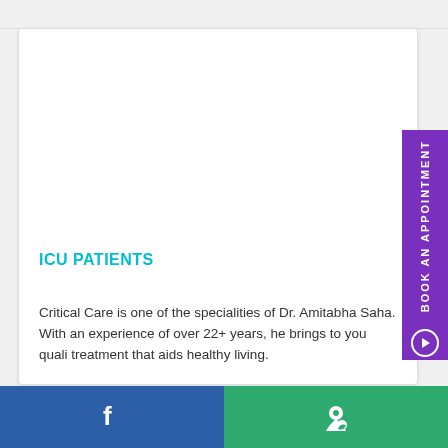ICU PATIENTS
Critical Care is one of the specialities of Dr. Amitabha Saha. With an experience of over 22+ years, he brings to you quality treatment that aids healthy living.
[Figure (other): Purple vertical sidebar button labeled BOOK AN APPOINTMENT with a circle arrow icon]
Facebook icon | Map/location icon